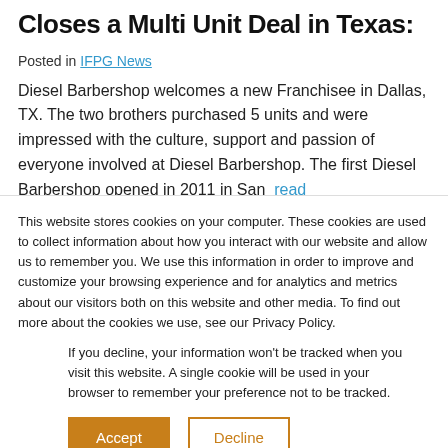Closes a Multi Unit Deal in Texas:
Posted in IFPG News
Diesel Barbershop welcomes a new Franchisee in Dallas, TX. The two brothers purchased 5 units and were impressed with the culture, support and passion of everyone involved at Diesel Barbershop. The first Diesel Barbershop opened in 2011 in San... read
This website stores cookies on your computer. These cookies are used to collect information about how you interact with our website and allow us to remember you. We use this information in order to improve and customize your browsing experience and for analytics and metrics about our visitors both on this website and other media. To find out more about the cookies we use, see our Privacy Policy.
If you decline, your information won't be tracked when you visit this website. A single cookie will be used in your browser to remember your preference not to be tracked.